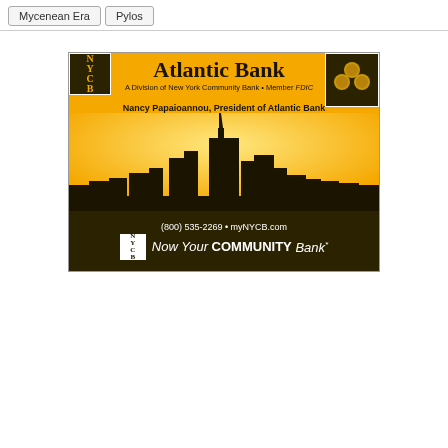Mycenean Era | Pylos
[Figure (logo): Atlantic Bank advertisement — A Division of New York Community Bank • Member FDIC. Nancy Papaioannou, President of Atlantic Bank. Phone: (800) 535-2269 • myNYCB.com. Tagline: Now Your COMMUNITY Bank*. Yellow background with city skyline silhouette.]